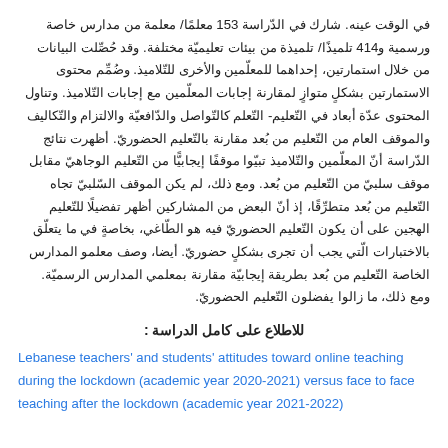في الوقت عينه. شارك في الدّراسة 153 معلمًا/ معلمة من مدارس خاصة ورسمية و414 تلميذًا/ تلميذة من بيئات تعليميّة مختلفة. وقد حُصِّلت البيانات من خلال استمارتين، إحداهما للمعلّمين والأخرى للتّلاميذ. وضُمِّم محتوى الاستمارتين بشكلٍ متوازٍ لمقارنة إجابات المعلّمين مع إجابات التّلاميذ. وتناول المحتوى عدّة أبعاد في التّعليم- التّعلم كالتّواصل والدّافعيّة والالتزام والتّكاليف والموقف العام من التّعليم من بُعد مقارنة بالتّعليم الحضوريّ. أظهرت نتائج الدّراسة أنّ المعلّمين والتّلاميذ تبيّوا موقفًا إيجابيًّا من التّعليم الوجاهيّ مقابل موقف سلبيّ من التّعليم من بُعد. ومع ذلك، لم يكن الموقف السّلبيّ تجاه التّعليم من بُعد متطرِّقًا، إذ أنّ البعض من المشاركين أظهر تفضيلًا للتّعليم الهجين على أن يكون التّعليم الحضوريّ فيه هو الطّاغي، بخاصةٍ في ما يتعلّق بالاختبارات الّتي يجب أن تجرى بشكلٍ حضوريّ. أيضا، وصف معلمو المدارس الخاصة التّعليم من بُعد بطريقة إيجابيّة مقارنة بمعلمي المدارس الرسميّة. ومع ذلك، ما زالوا يفضلون التّعليم الحضوريّ.
للاطلاع على كامل الدراسة :
Lebanese teachers' and students' attitudes toward online teaching during the lockdown (academic year 2020-2021) versus face to face teaching after the lockdown (academic year 2021-2022)